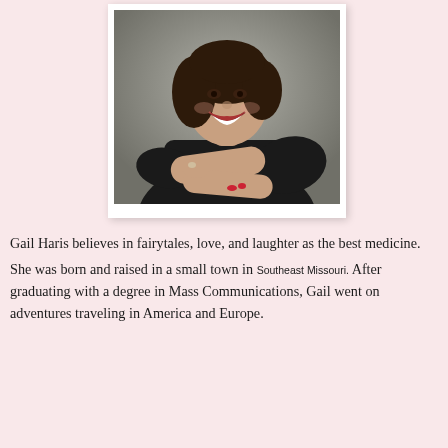[Figure (photo): Portrait photo of a smiling woman with short dark hair wearing a black top, posed with arms crossed, against a gray background. Photo is displayed in a white frame/mat.]
Gail Haris believes in fairytales, love, and laughter as the best medicine.
She was born and raised in a small town in Southeast Missouri. After graduating with a degree in Mass Communications, Gail went on adventures traveling in America and Europe.